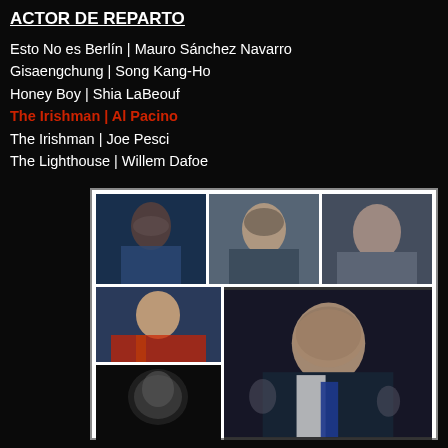ACTOR DE REPARTO
Esto No es Berlín | Mauro Sánchez Navarro
Gisaengchung | Song Kang-Ho
Honey Boy | Shia LaBeouf
The Irishman | Al Pacino
The Irishman | Joe Pesci
The Lighthouse | Willem Dafoe
[Figure (photo): Collage of 5 actor photos: top row has 3 stills from nominated films, bottom row has a small portrait on the left and a large center image of Al Pacino from The Irishman, plus a black-and-white photo bottom left.]